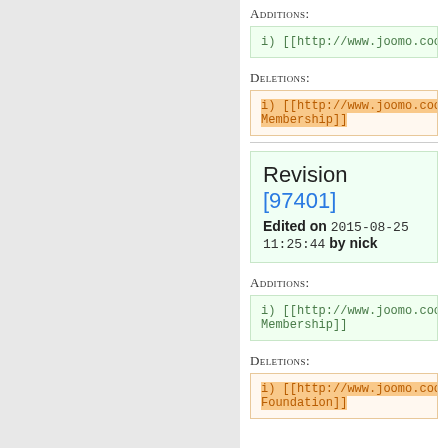Additions:
i) [[http://www.joomo.coop/joomo-membersh…
Deletions:
i) [[http://www.joomo.coop/joomo-membersh… Membership]]
Revision [97401]
Edited on 2015-08-25 11:25:44 by nick
Additions:
i) [[http://www.joomo.coop/joomo-membersh… Membership]]
Deletions:
i) [[http://www.joomo.coop/joomo-membersh… Foundation]]